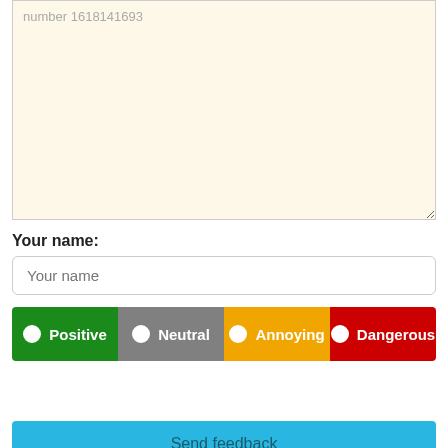number 1618141693
Your name:
Your name (placeholder)
Positive | Neutral | Annoying | Dangerous
Send feedback